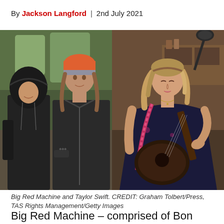By Jackson Langford | 2nd July 2021
[Figure (photo): Two men standing outdoors in nature wearing jackets and a beanie hat (Big Red Machine), alongside a woman playing acoustic guitar in a warmly lit indoor setting (Taylor Swift). Side-by-side composite photo.]
Big Red Machine and Taylor Swift. CREDIT: Graham Tolbert/Press, TAS Rights Management/Getty Images
Big Red Machine – comprised of Bon Iver's Justin